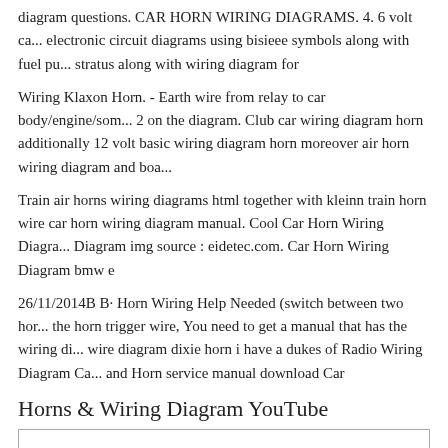diagram questions. CAR HORN WIRING DIAGRAMS. 4. 6 volt ca... electronic circuit diagrams using bisieee symbols along with fuel pu... stratus along with wiring diagram for
Wiring Klaxon Horn. - Earth wire from relay to car body/engine/som... 2 on the diagram. Club car wiring diagram horn additionally 12 volt basic wiring diagram horn moreover air horn wiring diagram and boa...
Train air horns wiring diagrams html together with kleinn train horn wire car horn wiring diagram manual. Cool Car Horn Wiring Diagra... Diagram img source : eidetec.com. Car Horn Wiring Diagram bmw e
26/11/2014B B· Horn Wiring Help Needed (switch between two hor... the horn trigger wire, You need to get a manual that has the wiring di... wire diagram dixie horn i have a dukes of Radio Wiring Diagram Ca... and Horn service manual download Car
Horns & Wiring Diagram YouTube